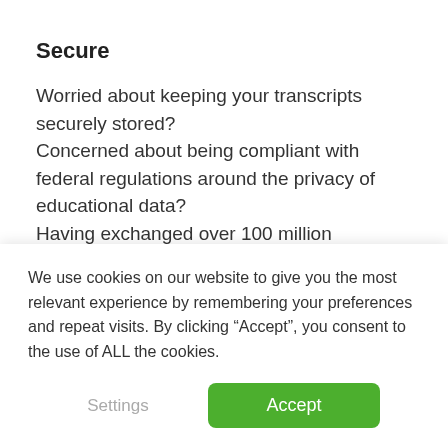Secure
Worried about keeping your transcripts securely stored?
Concerned about being compliant with federal regulations around the privacy of educational data?
Having exchanged over 100 million credentials through our platform, Parchment is a market proven solution.
Our continued commitment to providing the highest
We use cookies on our website to give you the most relevant experience by remembering your preferences and repeat visits. By clicking “Accept”, you consent to the use of ALL the cookies.